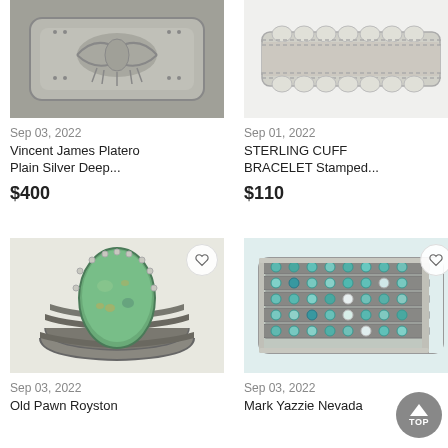[Figure (photo): Silver cuff bracelet with stamped thunderbird/eagle design, deep stamp work]
Sep 03, 2022
Vincent James Platero Plain Silver Deep...
$400
[Figure (photo): Sterling silver cuff bracelet with stamped ridged design, plain silver]
Sep 01, 2022
STERLING CUFF BRACELET Stamped...
$110
[Figure (photo): Old pawn Royston turquoise cuff bracelet, green turquoise teardrop stone with split band]
Sep 03, 2022
Old Pawn Royston
[Figure (photo): Mark Yazzie Nevada turquoise multi-row cuff bracelet with turquoise stones]
Sep 03, 2022
Mark Yazzie Nevada